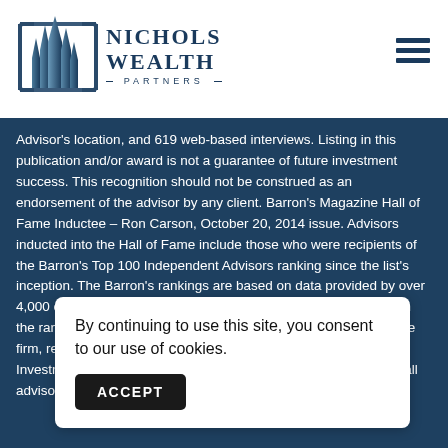[Figure (logo): Nichols Wealth Partners logo with stylized building/spire graphic and company name]
Advisor's location, and 619 web-based interviews. Listing in this publication and/or award is not a guarantee of future investment success. This recognition should not be construed as an endorsement of the advisor by any client. Barron's Magazine Hall of Fame Inductee – Ron Carson, October 20, 2014 issue. Advisors inducted into the Hall of Fame include those who were recipients of the Barron's Top 100 Independent Advisors ranking since the list's inception. The Barron's rankings are based on data provided by over 4,000 of the nation's most productive advisors. Factors included in the rankings: assets under management, revenue produced for the firm, regulatory record, quality of practice and philanthropic work. Investment performance isn't an explicit component because not all advisors have audited results and because pe...
By continuing to use this site, you consent to our use of cookies.